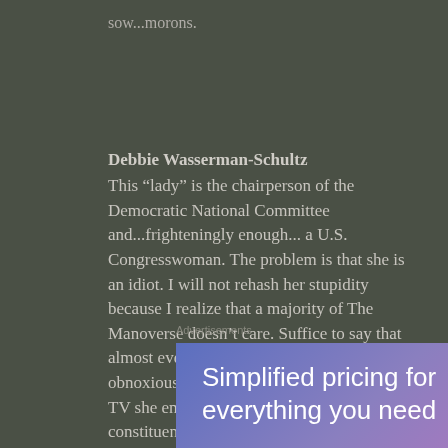sow...morons.
Debbie Wasserman-Schultz
This “lady” is the chairperson of the Democratic National Committee and...frighteningly enough... a U.S. Congresswoman. The problem is that she is an idiot. I will not rehash her stupidity because I realize that a majority of The Manoverse doesn’t care. Suffice to say that almost every time Ms. Schultz (I don’t do obnoxious hyphenated surnames) appears on TV she embarrasses herself, her constituency, & her party. Surely the Democrats can do better.
Advertisements
[Figure (other): Advertisement banner with gradient blue-purple background showing text: Simplified pricing for everything you need]